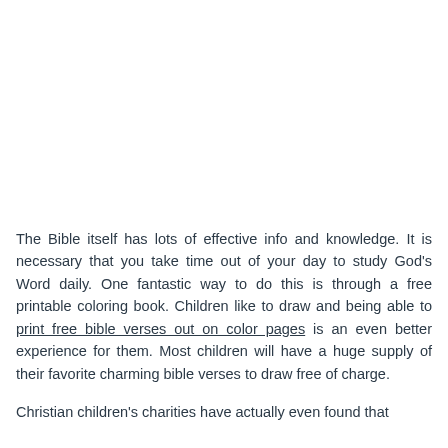The Bible itself has lots of effective info and knowledge. It is necessary that you take time out of your day to study God's Word daily. One fantastic way to do this is through a free printable coloring book. Children like to draw and being able to print free bible verses out on color pages is an even better experience for them. Most children will have a huge supply of their favorite charming bible verses to draw free of charge.
Christian children's charities have actually even found that...